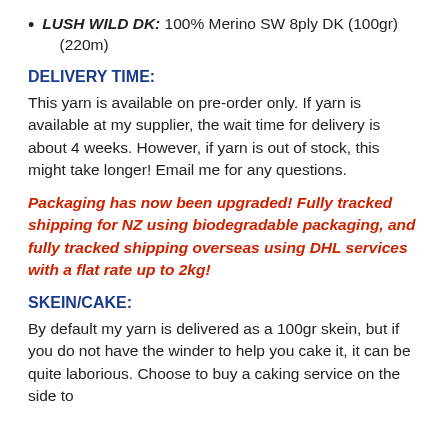LUSH WILD DK: 100% Merino SW 8ply DK (100gr) (220m)
DELIVERY TIME:
This yarn is available on pre-order only. If yarn is available at my supplier, the wait time for delivery is about 4 weeks. However, if yarn is out of stock, this might take longer! Email me for any questions.
Packaging has now been upgraded! Fully tracked shipping for NZ using biodegradable packaging, and fully tracked shipping overseas using DHL services with a flat rate up to 2kg!
SKEIN/CAKE:
By default my yarn is delivered as a 100gr skein, but if you do not have the winder to help you cake it, it can be quite laborious. Choose to buy a caking service on the side to